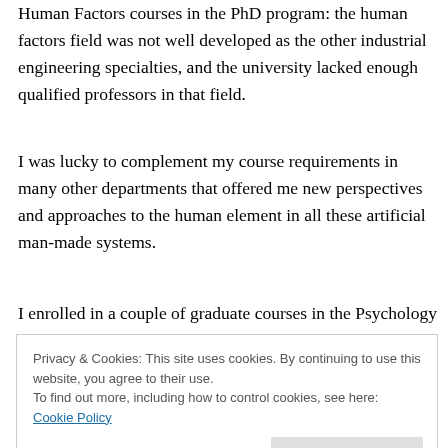Human Factors courses in the PhD program: the human factors field was not well developed as the other industrial engineering specialties, and the university lacked enough qualified professors in that field.
I was lucky to complement my course requirements in many other departments that offered me new perspectives and approaches to the human element in all these artificial man-made systems.
I enrolled in a couple of graduate courses in the Psychology department and I felt at home; my heart got
Privacy & Cookies: This site uses cookies. By continuing to use this website, you agree to their use.
To find out more, including how to control cookies, see here: Cookie Policy